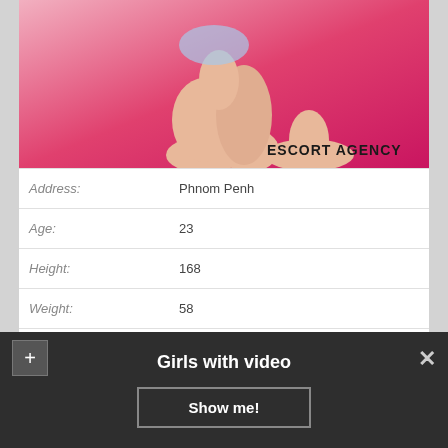[Figure (photo): Person posing against pink background with escort agency watermark]
| Address: | Phnom Penh |
| Age: | 23 |
| Height: | 168 |
| Weight: | 58 |
| Availability: | 10:00 – 21:00 |
| Couples: | +60$ |
Girls with video
Show me!